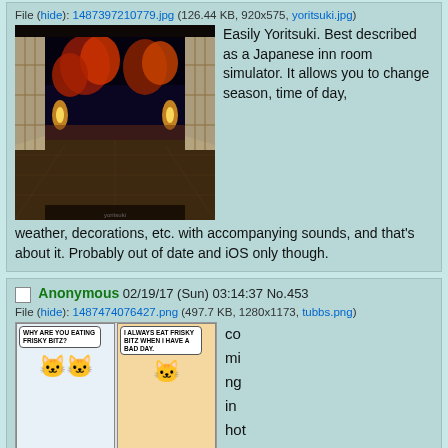File (hide): 1487397210779.jpg (126.44 KB, 920x575, yoritsuki.jpg)
[Figure (photo): Japanese inn room with sliding paper doors (shoji), illuminated autumn foliage visible outside at night]
Easily Yoritsuki. Best described as a Japanese inn room simulator. It allows you to change season, time of day, weather, decorations, etc. with accompanying sounds, and that's about it. Probably out of date and iOS only though.
Anonymous 02/19/17 (Sun) 03:14:37 No.453
File (hide): 1487474076427.png (497.7 KB, 1280x1173, tubbs.png)
[Figure (illustration): Comic strip with cat characters (Neko Atsume style). Panel 1: 'WHY ARE YOU EATING FRISKY BITZ?' Panel 2: 'I ALWAYS EAT FRISKY BITZ WHEN I HAVE A BAD DAY.' Panel 3: 'BUT YOU EAT FRISKY BITZ EVERYDAY!' Panel 4: (dark panel with cat)]
coming in hot for neko atsum